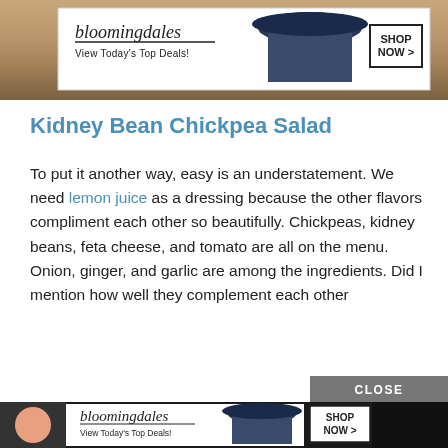[Figure (screenshot): Bloomingdale's advertisement banner at top: logo with 'bloomingdales' and 'View Today's Top Deals!', woman in wide-brim hat, SHOP NOW button, over sandy/beach background]
Kidney Bean Chickpea Salad
To put it another way, easy is an understatement. We need lemon juice as a dressing because the other flavors compliment each other so beautifully. Chickpeas, kidney beans, feta cheese, and tomato are all on the menu. Onion, ginger, and garlic are among the ingredients. Did I mention how well they complement each other
[Figure (screenshot): CLOSE button overlay and second Bloomingdale's advertisement banner at bottom with same branding]